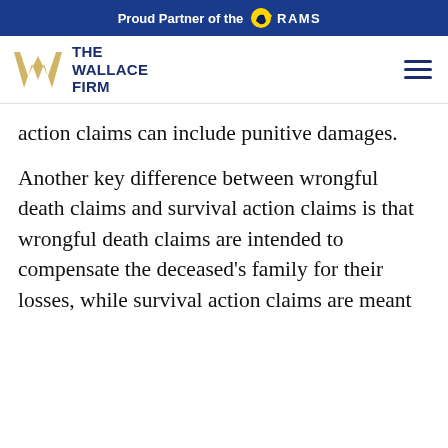Proud Partner of the RAMS
[Figure (logo): The Wallace Firm logo with stylized W and firm name, plus hamburger menu icon]
action claims can include punitive damages.
Another key difference between wrongful death claims and survival action claims is that wrongful death claims are intended to compensate the deceased's family for their losses, while survival action claims are meant